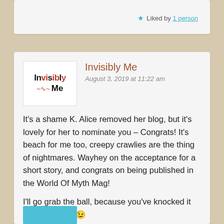★ Liked by 1 person
[Figure (screenshot): Avatar logo for Invisibly Me blog: white box with bold text 'Invisibly Me' and a red heartbeat/wave line]
Invisibly Me
August 3, 2019 at 11:22 am
It's a shame K. Alice removed her blog, but it's lovely for her to nominate you – Congrats! It's beach for me too, creepy crawlies are the thing of nightmares. Wayhey on the acceptance for a short story, and congrats on being published in the World Of Myth Mag!
I'll go grab the ball, because you've knocked it outta the park 😉
★ Liked by 1 person